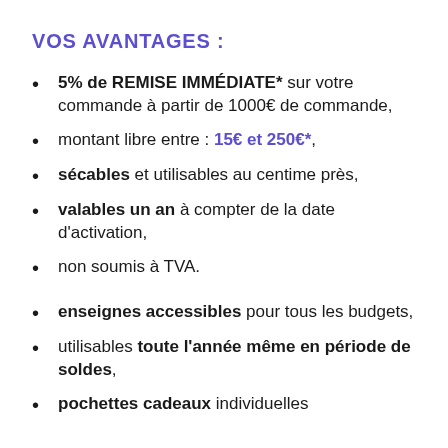VOS AVANTAGES :
5% de REMISE IMMÉDIATE* sur votre commande à partir de 1000€ de commande,
montant libre entre : 15€ et 250€*,
sécables et utilisables au centime près,
valables un an à compter de la date d'activation,
non soumis à TVA.
enseignes accessibles pour tous les budgets,
utilisables toute l'année même en période de soldes,
pochettes cadeaux individuelles